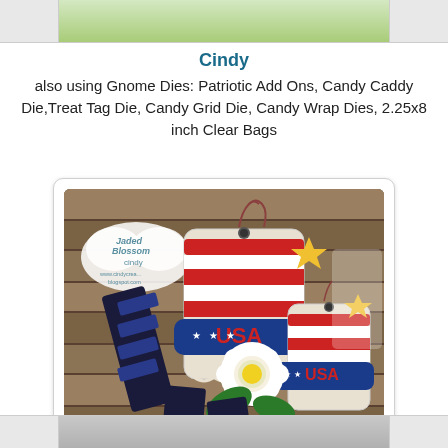[Figure (photo): Top portion of a previous card/project image partially visible at top of page, showing green/lime colored craft item]
Cindy
also using Gnome Dies: Patriotic Add Ons, Candy Caddy Die,Treat Tag Die, Candy Grid Die, Candy Wrap Dies, 2.25x8 inch Clear Bags
[Figure (photo): Photo of patriotic USA-themed handmade craft tags and candy holders displayed against a rustic wooden plank background. Items include red, white and blue striped treat tags with 'USA' text, gold stars, a white daisy flower, and dark candy bar wrappers. Jaded Blossom Cindy watermark visible in upper left.]
[Figure (photo): Bottom strip showing partial view of another project image below]